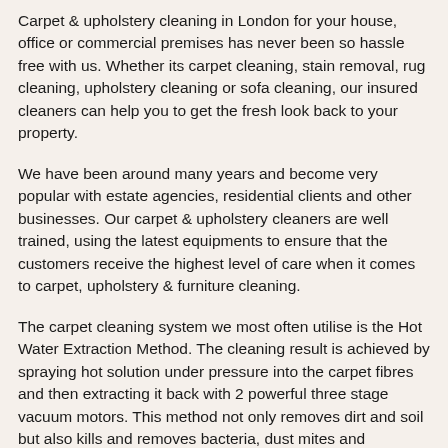Carpet & upholstery cleaning in London for your house, office or commercial premises has never been so hassle free with us. Whether its carpet cleaning, stain removal, rug cleaning, upholstery cleaning or sofa cleaning, our insured cleaners can help you to get the fresh look back to your property.
We have been around many years and become very popular with estate agencies, residential clients and other businesses. Our carpet & upholstery cleaners are well trained, using the latest equipments to ensure that the customers receive the highest level of care when it comes to carpet, upholstery & furniture cleaning.
The carpet cleaning system we most often utilise is the Hot Water Extraction Method. The cleaning result is achieved by spraying hot solution under pressure into the carpet fibres and then extracting it back with 2 powerful three stage vacuum motors. This method not only removes dirt and soil but also kills and removes bacteria, dust mites and numerous other allergens.
Please note this method is not suitable for coir, sisal, jute, sea grass and any other natural plant fibres. Natural plant…